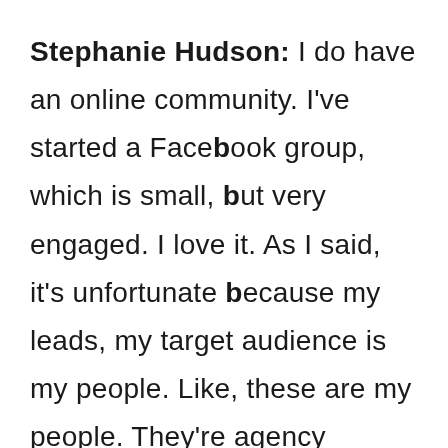Stephanie Hudson: I do have an online community. I've started a Facebook group, which is small, but very engaged. I love it. As I said, it's unfortunate because my leads, my target audience is my people. Like, these are my people. They're agency owners, they're freelancers, they're digital marketers and creatives. And so I know how to talk to them. I love talking to them. I love hanging out with